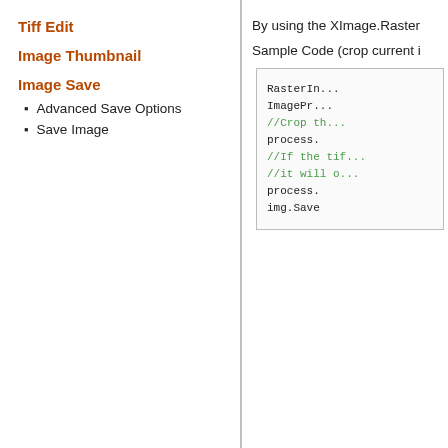Tiff Edit
Image Thumbnail
Image Save
Advanced Save Options
Save Image
By using the XImage.Raster
Sample Code (crop current i
[Figure (screenshot): Code box showing RasterIn..., ImagePr..., //Crop th..., process., //If the tif..., //it will o..., process., img.Save...]